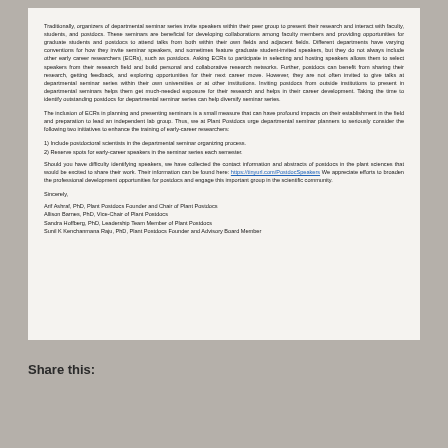Traditionally, organizers of departmental seminar series invite speakers within their peer group to present their research and interact with faculty, students, and postdocs. These seminars are beneficial for developing collaborations among faculty members and providing opportunities for graduate students and postdocs to attend talks from both within their own fields and adjacent fields. Different departments have varying conventions for how they invite seminar speakers, and sometimes feature graduate student-invited speakers, but they do not always include other early career researchers (ECRs), such as postdocs. Asking ECRs to participate in selecting and hosting speakers allows them to select speakers from their research field and build personal and collaborative research networks. Further, postdocs can benefit from sharing their research, getting feedback, and exploring opportunities for their next career move. However, they are not often invited to give talks at departmental seminar series within their own universities or at other institutions. Inviting postdocs from outside institutions to present in departmental seminars helps them get much-needed exposure for their research and helps in their career development. Taking the time to identify outstanding postdocs for departmental seminar series can help diversify seminar series.
The inclusion of ECRs in planning and presenting seminars is a small measure that can have profound impacts on their establishment in the field and preparation to lead an independent lab group. Thus, we at Plant Postdocs urge departmental seminar planners to seriously consider the following two initiatives to enhance the training of early-career researchers:
1) Include postdoctoral scientists in the departmental seminar organizing process.
2) Reserve spots for early-career speakers in the seminar series each semester.
Should you have difficulty identifying speakers, we have collected the contact information and abstracts of postdocs in the plant sciences that would be excited to share their work. Their information can be found here: https://tinyurl.com/PostdocSpeakers  We appreciate efforts to broaden the professional development opportunities for postdocs and engage this important group in the scientific community.
Sincerely,
Arif Ashraf, PhD, Plant Postdocs Founder and Chair of Plant Postdocs
Allison Barnes, PhD, Vice-Chair of Plant Postdocs
Sandra Hoffberg, PhD, Leadership Team Member of Plant Postdocs
Sunil K Kenchanmana Raju, PhD, Plant Postdocs Founder and Advisory Board Member
Share this: